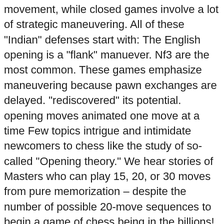movement, while closed games involve a lot of strategic maneuvering. All of these "Indian" defenses start with: The English opening is a "flank" manuever. Nf3 are the most common. These games emphasize maneuvering because pawn exchanges are delayed. "rediscovered" its potential. opening moves animated one move at a time Few topics intrigue and intimidate newcomers to chess like the study of so-called "Opening theory." We hear stories of Masters who can play 15, 20, or 30 moves from pure memorization – despite the number of possible 20-move sequences to begin a game of chess being in the billions! depth than given here. Recognizing the Role of the Rook in Chess, Understanding the Basics of Chess Openings. One example is the. If white plays 2. d4 here, this is a Queen's Pawn Opening despite the game beginning with 1. It starts: Now we look at openings other than "1. e4". Privacy Policy | Website by anchorsdesign.com. Yet no one can deny that a deep understanding of chess openings – and the plans associated with each one – is a huge advantage at